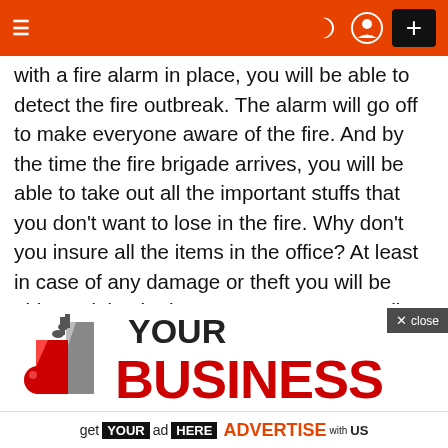Navigation bar with menu, moon/user/plus icons
with a fire alarm in place, you will be able to detect the fire outbreak. The alarm will go off to make everyone aware of the fire. And by the time the fire brigade arrives, you will be able to take out all the important stuffs that you don't want to lose in the fire. Why don't you insure all the items in the office? At least in case of any damage or theft you will be able to claim the insurance amount as well. In times of emergency, this amount will prove to be very useful.
[Figure (logo): YOUR BUSINESS logo with stylized building icon in red and grey, partially visible]
get YOUR ad HERE ADVERTISE with US